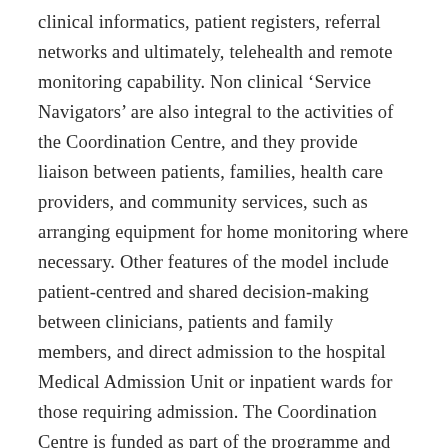clinical informatics, patient registers, referral networks and ultimately, telehealth and remote monitoring capability. Non clinical ‘Service Navigators’ are also integral to the activities of the Coordination Centre, and they provide liaison between patients, families, health care providers, and community services, such as arranging equipment for home monitoring where necessary. Other features of the model include patient-centred and shared decision-making between clinicians, patients and family members, and direct admission to the hospital Medical Admission Unit or inpatient wards for those requiring admission. The Coordination Centre is funded as part of the programme and as such, is a public facility with no costs incurred or billed to the patient. Patients can